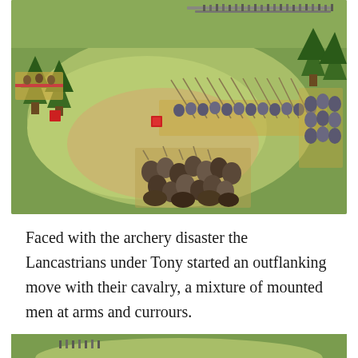[Figure (photo): Wargaming tabletop scene showing miniature medieval soldiers on a green terrain mat. In the foreground is a group of cavalry miniatures on a sandy base representing mounted men at arms. In the middle ground is a long line of infantry/cavalry units with lances. Trees and other units are visible in the background. A red marker cube is visible near the cavalry line.]
Faced with the archery disaster the Lancastrians under Tony started an outflanking move with their cavalry, a mixture of mounted men at arms and currours.
[Figure (photo): Partial view of another wargaming tabletop scene, cropped at bottom of page.]